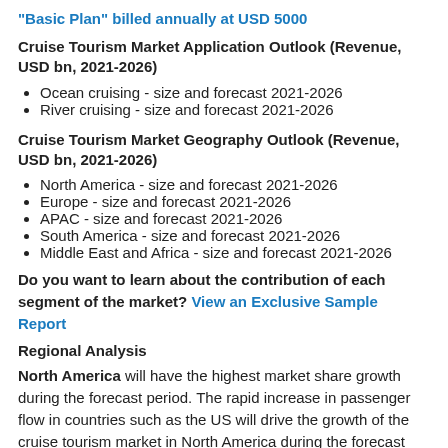"Basic Plan" billed annually at USD 5000
Cruise Tourism Market Application Outlook (Revenue, USD bn, 2021-2026)
Ocean cruising - size and forecast 2021-2026
River cruising - size and forecast 2021-2026
Cruise Tourism Market Geography Outlook (Revenue, USD bn, 2021-2026)
North America - size and forecast 2021-2026
Europe - size and forecast 2021-2026
APAC - size and forecast 2021-2026
South America - size and forecast 2021-2026
Middle East and Africa - size and forecast 2021-2026
Do you want to learn about the contribution of each segment of the market? View an Exclusive Sample Report
Regional Analysis
North America will have the highest market share growth during the forecast period. The rapid increase in passenger flow in countries such as the US will drive the growth of the cruise tourism market in North America during the forecast period. Moreover, market growth in